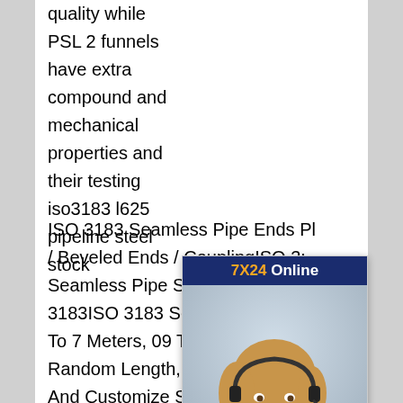quality while PSL 2 funnels have extra compound and mechanical properties and their testing iso3183 l625 pipeline steel stock
ISO 3183 Seamless Pipe Ends Pl / Beveled Ends / CouplingISO 3183 Seamless Pipe Specification ISO 3183ISO 3183 Seamless Pipe Le To 7 Meters, 09 To 13 Meters, Si Random Length, Double Random And Customize Size.ISO 3183 Seamless Pipe Type SeamlessISO3183 L485 pipeline steel tensile strength-LUXURY Steel iso3183 l625 pipeline steel stock
[Figure (other): Customer service chat widget with '7X24 Online' header in dark blue with yellow text, photo of a woman wearing a headset smiling, message 'Hello,may I help you?' on dark blue background, and 'Get Latest Price' button in yellow]